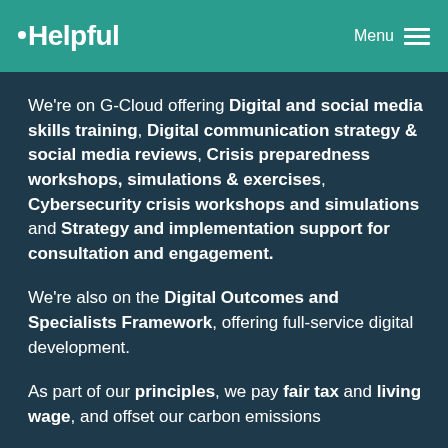Helpful  Menu
We're on G-Cloud offering Digital and social media skills training, Digital communication strategy & social media reviews, Crisis preparedness workshops, simulations & exercises, Cybersecurity crisis workshops and simulations and Strategy and implementation support for consultation and engagement.
We're also on the Digital Outcomes and Specialists Framework, offering full-service digital development.
As part of our principles, we pay fair tax and living wage, and offset our carbon emissions